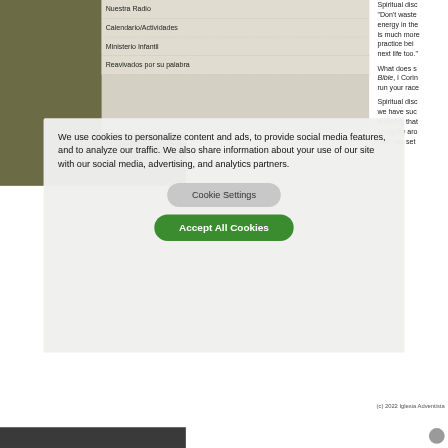Nuestra Radio
Calendario/Actividades
Ministerio Infantil
Reavivados por su palabra
Spiritual disc... "Don't waste energy in the is much more practice bei next life too."
What does s Bible, I Corin run your race
Spiritual disc we have suc anything that so tightly aro God has set
We use cookies to personalize content and ads, to provide social media features, and to analyze our traffic. We also share information about your use of our site with our social media, advertising, and analytics partners.
Cookie Settings
Accept All Cookies
(c) 2022 Iglesia Adventista